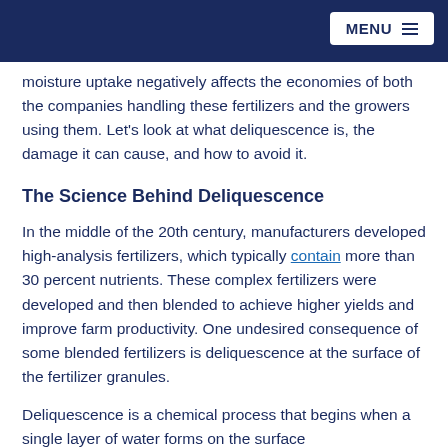MENU
moisture uptake negatively affects the economies of both the companies handling these fertilizers and the growers using them. Let’s look at what deliquescence is, the damage it can cause, and how to avoid it.
The Science Behind Deliquescence
In the middle of the 20th century, manufacturers developed high-analysis fertilizers, which typically contain more than 30 percent nutrients. These complex fertilizers were developed and then blended to achieve higher yields and improve farm productivity. One undesired consequence of some blended fertilizers is deliquescence at the surface of the fertilizer granules.
Deliquescence is a chemical process that begins when a single layer of water forms on the surface